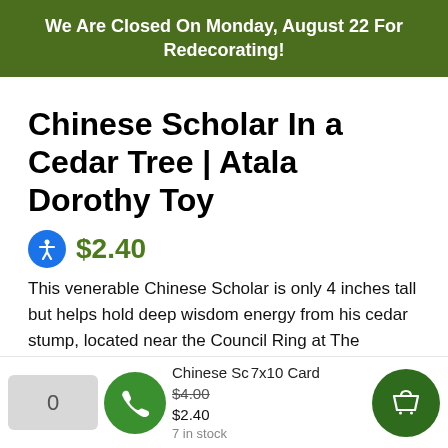We Are Closed On Monday, August 22 For Redecorating!
Chinese Scholar In a Cedar Tree | Atala Dorothy Toy
$2.40
This venerable Chinese Scholar is only 4 inches tall but helps hold deep wisdom energy from his cedar stump, located near the Council Ring at The Clearing Folk School, Door County, Wisconsin
| Qty | Product | Original Price | Sale Price | Stock |
| --- | --- | --- | --- | --- |
| 0 | Chinese Scholar 7x10 Card | $4.00 | $2.40 | 7 in stock |